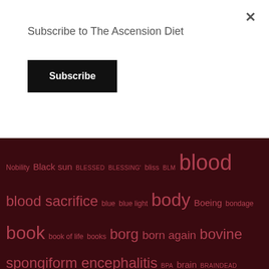Subscribe to The Ascension Diet
Subscribe
Nobility Black sun BLESSED BLESSING' bliss BLM blood blood sacrifice blue blue light body Boeing bondage book book of life books borg born again bovine spongiform encephalitis BPA brain BRAINDEAD PARENTS brainwashed brainwashing brainwashing the masses Brave browser bread breastfeeding Bromine bromine in tap water brother Brown Dwarf building materials Butterfly cabal cadeuceus calendar California calming camps cancer CANNIBALISM cast out demons cataclysm cataclysms Catonsville Catonsville Nine CCP CDC cell degradation cell food cellphone cellphones cells cellular